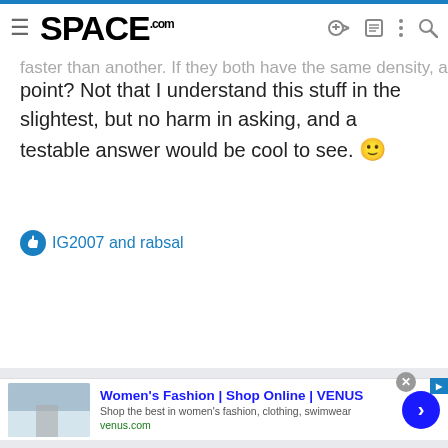SPACE.com
...faster than another. If they both have the same density, at the center point? Not that I understand this stuff in the slightest, but no harm in asking, and a testable answer would be cool to see. 🙂
👍 IG2007 and rabsal
[Figure (other): Advertisement for Women's Fashion at Venus.com with a clothing image thumbnail, arrow button, and close button]
Women's Fashion | Shop Online | VENUS
Shop the best in women's fashion, clothing, swimwear
venus.com